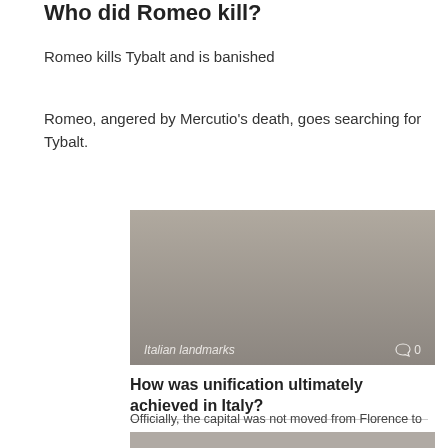Who did Romeo kill?
Romeo kills Tybalt and is banished
Romeo, angered by Mercutio's death, goes searching for Tybalt.
[Figure (photo): Image of Italian landmarks with comment count overlay showing 0 comments]
How was unification ultimately achieved in Italy?
Officially, the capital was not moved from Florence to Rome until July 1871. The
[Figure (photo): Partial image visible at bottom of page]